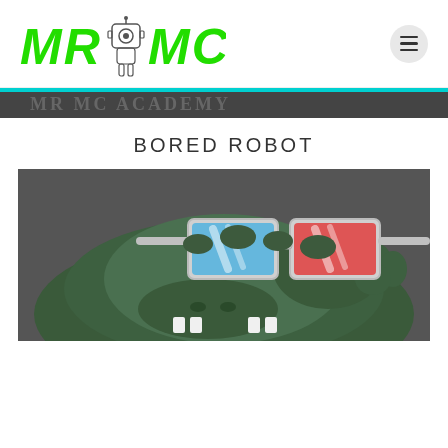[Figure (logo): MR MC logo with green stylized text and a small robot mascot illustration in the center]
[Figure (illustration): Cartoon illustration of a bored-looking green creature (frog-like character) wearing red-cyan 3D glasses, set against a dark gray background]
BORED ROBOT